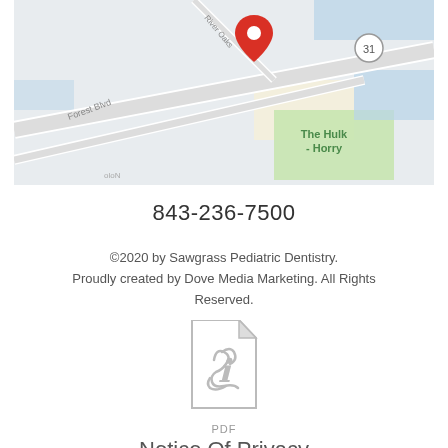[Figure (map): Google Maps screenshot showing the area near Sawgrass Pediatric Dentistry with a red location pin, showing River Oaks, Forest Blvd, The Hulk - Horry, and highway 31.]
843-236-7500
©2020 by Sawgrass Pediatric Dentistry. Proudly created by Dove Media Marketing. All Rights Reserved.
[Figure (other): PDF file icon with Acrobat logo symbol]
PDF
Notice Of Privacy